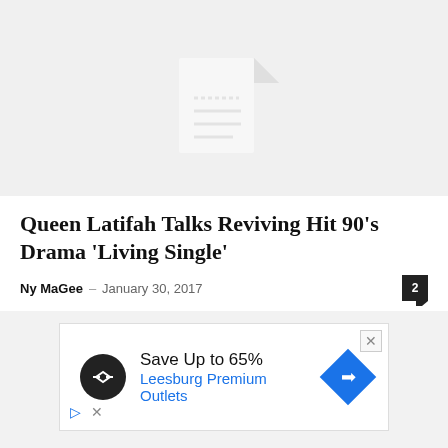[Figure (illustration): Gray placeholder image with a document/file icon in the center]
Queen Latifah Talks Reviving Hit 90’s Drama ‘Living Single’
Ny MaGee – January 30, 2017
[Figure (other): Advertisement banner: Save Up to 65% Leesburg Premium Outlets, with logo circle and direction sign diamond icon]